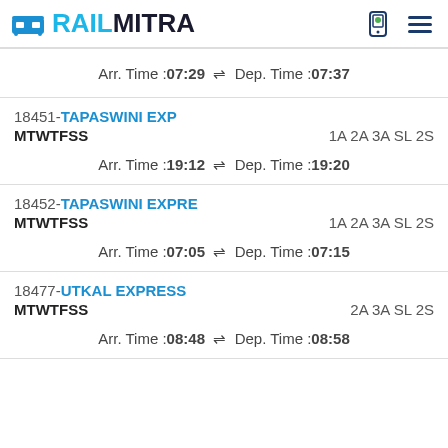RAILMITRA
Arr. Time :07:29 ⇌ Dep. Time :07:37
18451-TAPASWINI EXP
MTWTFSS	1A 2A 3A SL 2S
Arr. Time :19:12 ⇌ Dep. Time :19:20
18452-TAPASWINI EXPRE
MTWTFSS	1A 2A 3A SL 2S
Arr. Time :07:05 ⇌ Dep. Time :07:15
18477-UTKAL EXPRESS
MTWTFSS	2A 3A SL 2S
Arr. Time :08:48 ⇌ Dep. Time :08:58